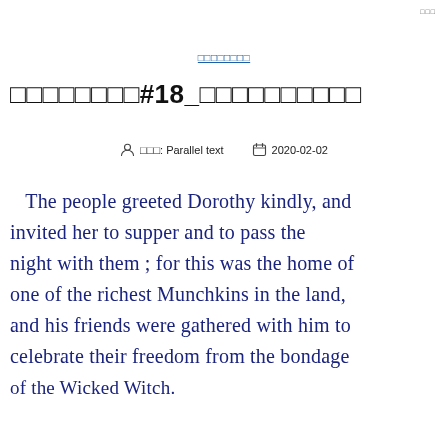□□□
□□□□□□□□
□□□□□□□□#18_□□□□□□□□□□
□□□: Parallel text   2020-02-02
The people greeted Dorothy kindly, and invited her to supper and to pass the night with them ; for this was the home of one of the richest Munchkins in the land, and his friends were gathered with him to celebrate their freedom from the bondage of the Wicked Witch.